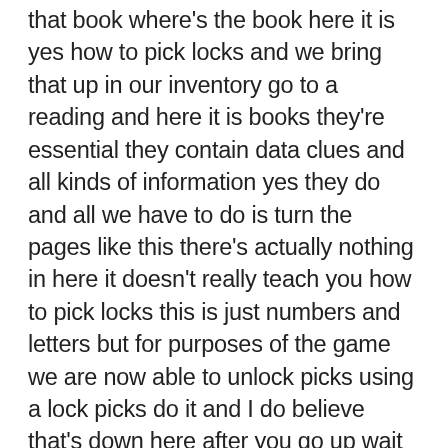that book where's the book here it is yes how to pick locks and we bring that up in our inventory go to a reading and here it is books they're essential they contain data clues and all kinds of information yes they do and all we have to do is turn the pages like this there's actually nothing in here it doesn't really teach you how to pick locks this is just numbers and letters but for purposes of the game we are now able to unlock picks using a lock picks do it and I do believe that's down here after you go up wait till it goes all the way to the bottom hands and feet inside at all times and here we go we're gonna grab a couple of these got all a lot picked you never know what I'm gonna need them right and now we can unlock this thing this tells you how to unlock the locks with the lock picks and whoops can we do that again please step back here and it's really just random guesswork as long as you get the first one in the ez lock this one is an easy one and the rest don't